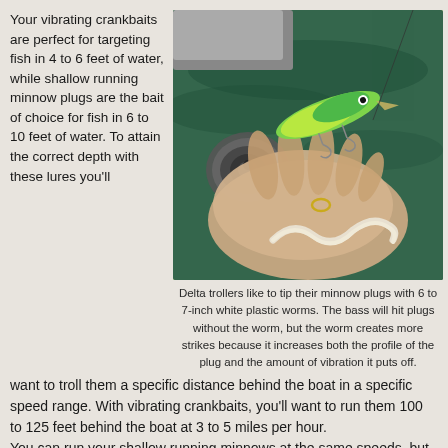Your vibrating crankbaits are perfect for targeting fish in 4 to 6 feet of water, while shallow running minnow plugs are the bait of choice for fish in 6 to 10 feet of water. To attain the correct depth with these lures you'll
[Figure (photo): A hand holding a green and yellow fishing lure (minnow plug) along with a white plastic worm, with a fishing reel and water visible in the background.]
Delta trollers like to tip their minnow plugs with 6 to 7-inch white plastic worms. The bass will hit plugs without the worm, but the worm creates more strikes because it increases both the profile of the plug and the amount of vibration it puts off.
want to troll them a specific distance behind the boat in a specific speed range. With vibrating crankbaits, you'll want to run them 100 to 125 feet behind the boat at 3 to 5 miles per hour. You can run your shallow running minnows at the same speeds, but you'll want them 140 feet back. Your 1-ounce Fish Traps will